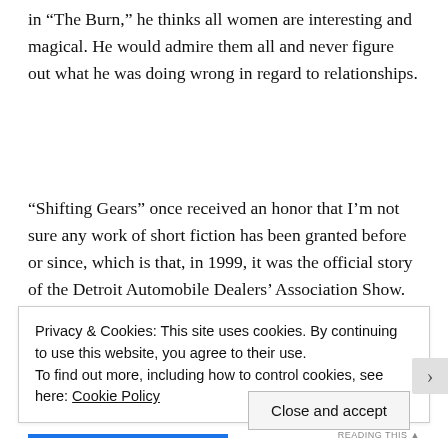in “The Burn,” he thinks all women are interesting and magical. He would admire them all and never figure out what he was doing wrong in regard to relationships.
“Shifting Gears” once received an honor that I’m not sure any work of short fiction has been granted before or since, which is that, in 1999, it was the official story of the Detroit Automobile Dealers’ Association Show. Perhaps no one has ever captured the raw but quiet emotionality of a man’s love
Privacy & Cookies: This site uses cookies. By continuing to use this website, you agree to their use.
To find out more, including how to control cookies, see here: Cookie Policy
Close and accept